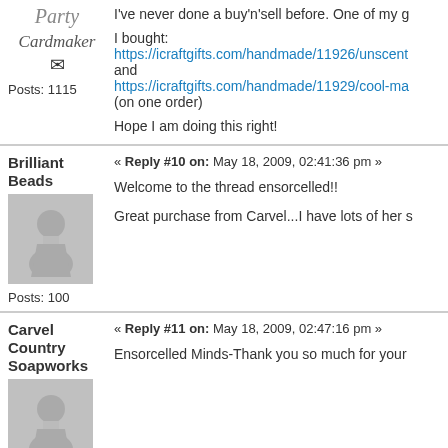I've never done a buy'n'sell before. One of my g
I bought:
https://icraftgifts.com/handmade/11926/unscent
and
https://icraftgifts.com/handmade/11929/cool-ma
(on one order)
Hope I am doing this right!
Brilliant Beads
« Reply #10 on: May 18, 2009, 02:41:36 pm »
Posts: 100
Welcome to the thread ensorcelled!!
Great purchase from Carvel...I have lots of her s
Carvel Country Soapworks
« Reply #11 on: May 18, 2009, 02:47:16 pm »
Ensorcelled Minds-Thank you so much for your